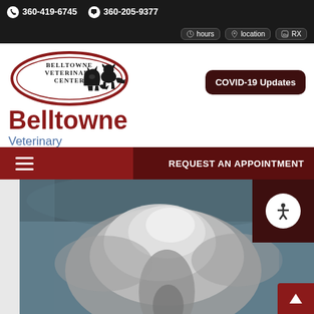📞 360-419-6745  💬 360-205-9377
hours  location  RX
[Figure (logo): Belltowne Veterinary Center oval logo with silhouettes of cat and dog]
Belltowne
Veterinary
COVID-19 Updates
REQUEST AN APPOINTMENT
[Figure (photo): Dramatic stormy sky with large cloud formation, grey and dark blue tones]